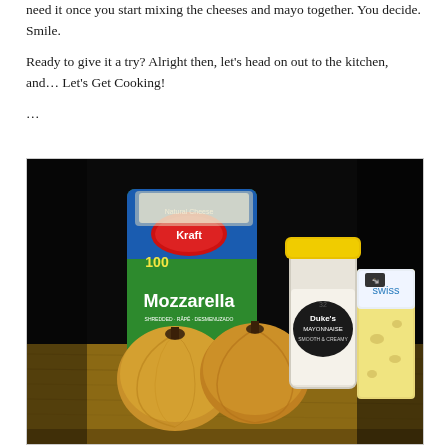need it once you start mixing the cheeses and mayo together. You decide. Smile.
Ready to give it a try? Alright then, let's head on out to the kitchen, and… Let's Get Cooking!
…
[Figure (photo): Ingredients on a wooden cutting board against a black background: a bag of Kraft Mozzarella Natural Cheese (shredded), a jar of Duke's Mayonnaise with yellow lid, a package of Swiss cheese, and three yellow onions.]